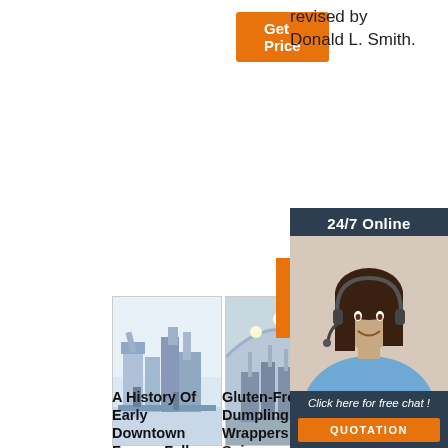[Figure (other): Orange 'Get Price' button]
revised by Donald L. Smith.
[Figure (other): 24/7 Online chat widget with woman wearing headset, 'Click here for free chat!' text and orange QUOTATION button]
[Figure (photo): Three industrial/factory images side by side showing milling/processing equipment]
A History Of Early Downtown Fergus Falls
Gluten-Free Dumpling Wrappers - Snixy
How To Start A Poultry Feed Mill